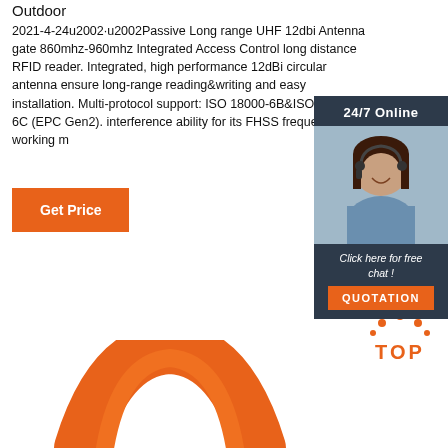Outdoor
2021-4-24u2002·u2002Passive Long range UHF 12dbi Antenna gate 860mhz-960mhz Integrated Access Control long distance RFID reader. Integrated, high performance 12dBi circular antenna ensure long-range reading&writing and easy installation. Multi-protocol support: ISO 18000-6B&ISO 18000-6C (EPC Gen2). interference ability for its FHSS frequency working m
[Figure (photo): Customer service representative with headset, 24/7 Online chat widget with QUOTATION button]
[Figure (logo): TOP logo with orange dots above letters]
[Figure (photo): Orange curved product (RFID wristband or tag)]